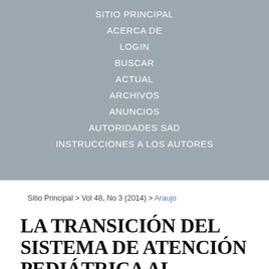SITIO PRINCIPAL
ACERCA DE
LOGIN
BUSCAR
ACTUAL
ARCHIVOS
ANUNCIOS
AUTORIDADES SAD
INSTRUCCIONES A LOS AUTORES
Sitio Principal > Vol 48, No 3 (2014) > Araujo
LA TRANSICIÓN DEL SISTEMA DE ATENCIÓN PEDIÁTRICA AL